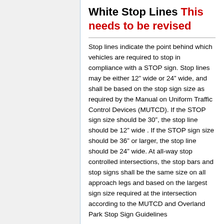White Stop Lines This needs to be revised
Stop lines indicate the point behind which vehicles are required to stop in compliance with a STOP sign. Stop lines may be either 12” wide or 24” wide, and shall be based on the stop sign size as required by the Manual on Uniform Traffic Control Devices (MUTCD). If the STOP sign size should be 30”, the stop line should be 12” wide . If the STOP sign size should be 36” or larger, the stop line should be 24” wide. At all-way stop controlled intersections, the stop bars and stop signs shall be the same size on all approach legs and based on the largest sign size required at the intersection according to the MUTCD and Overland Park Stop Sign Guidelines